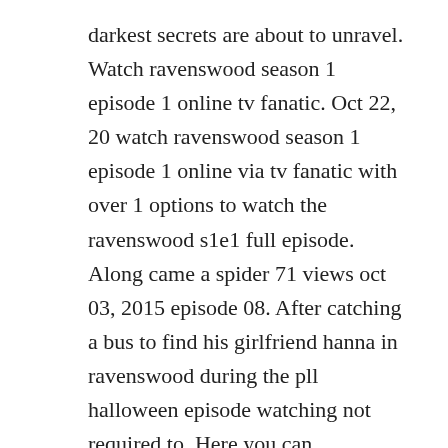darkest secrets are about to unravel. Watch ravenswood season 1 episode 1 online tv fanatic. Oct 22, 20 watch ravenswood season 1 episode 1 online via tv fanatic with over 1 options to watch the ravenswood s1e1 full episode. Along came a spider 71 views oct 03, 2015 episode 08. After catching a bus to find his girlfriend hanna in ravenswood during the pll halloween episode watching not required to. Here you can download ravenswood tv series season 1 tv show free in. Ravenswood tv show season 1 episodes list next episode.